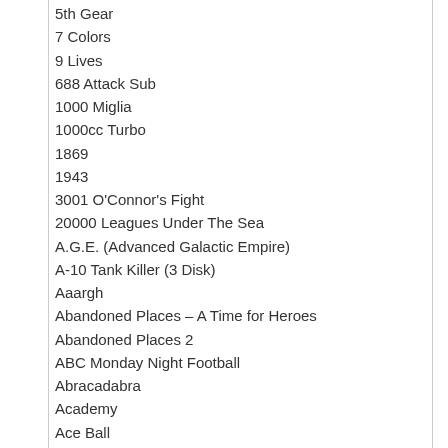5th Gear
7 Colors
9 Lives
688 Attack Sub
1000 Miglia
1000cc Turbo
1869
1943
3001 O'Connor's Fight
20000 Leagues Under The Sea
A.G.E. (Advanced Galactic Empire)
A-10 Tank Killer (3 Disk)
Aaargh
Abandoned Places – A Time for Heroes
Abandoned Places 2
ABC Monday Night Football
Abracadabra
Academy
Ace Ball